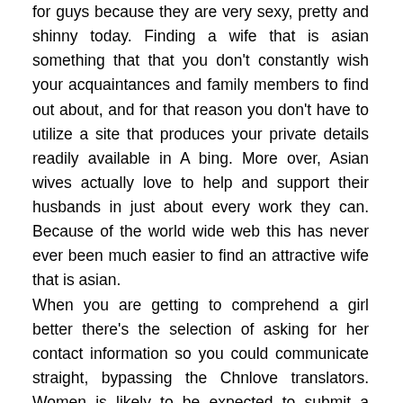for guys because they are very sexy, pretty and shinny today. Finding a wife that is asian something that that you don't constantly wish your acquaintances and family members to find out about, and for that reason you don't have to utilize a site that produces your private details readily available in A bing. More over, Asian wives actually love to help and support their husbands in just about every work they can. Because of the world wide web this has never ever been much easier to find an attractive wife that is asian.
When you are getting to comprehend a girl better there's the selection of asking for her contact information so you could communicate straight, bypassing the Chnlove translators. Women is likely to be expected to submit a written statement and numerous papers to have the ability to be authorized. First, they from all over the world deliver within their application to your web site. Chinese women